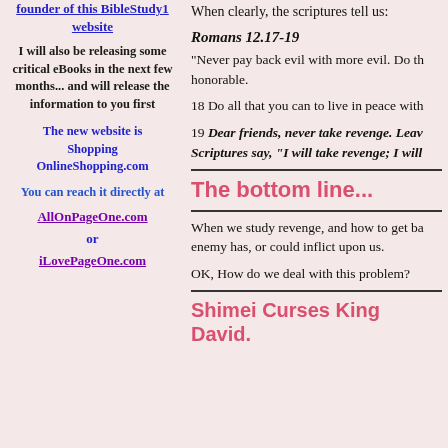founder of this BibleStudy1 website
I will also be releasing some critical eBooks in the next few months... and will release the information to you first
The new website is Shopping OnlineShopping.com
You can reach it directly at
AllOnPageOne.com
or
iLovePageOne.com
When clearly, the scriptures tell us:
Romans 12.17-19
"Never pay back evil with more evil. Do th honorable.
18 Do all that you can to live in peace with
19 Dear friends, never take revenge. Leav Scriptures say, “I will take revenge; I will
The bottom line...
When we study revenge, and how to get ba enemy has, or could inflict upon us.
OK, How do we deal with this problem?
Shimei Curses King David.